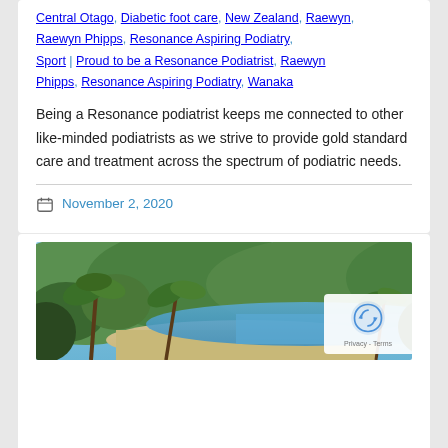Central Otago, Diabetic foot care, New Zealand, Raewyn, Raewyn Phipps, Resonance Aspiring Podiatry, Sport | Proud to be a Resonance Podiatrist, Raewyn Phipps, Resonance Aspiring Podiatry, Wanaka
Being a Resonance podiatrist keeps me connected to other like-minded podiatrists as we strive to provide gold standard care and treatment across the spectrum of podiatric needs.
November 2, 2020
[Figure (photo): Tropical beach scene with palm trees, sandy beach, calm water, and green hills in the background.]